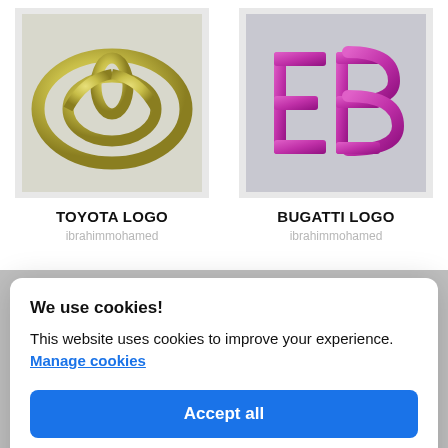[Figure (logo): 3D rendered Toyota logo in gold/yellow metallic, oval ring with intersecting ellipses]
TOYOTA LOGO
ibrahimmohamed
[Figure (logo): 3D rendered Bugatti logo in magenta/pink metallic, stylized EB letters]
BUGATTI LOGO
ibrahimmohamed
We use cookies!
This website uses cookies to improve your experience. Manage cookies
Accept all
Reject all